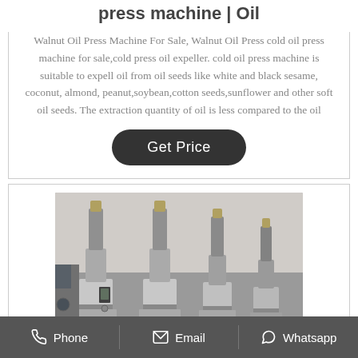press machine | Oil
Walnut Oil Press Machine For Sale, Walnut Oil Press cold oil press machine for sale,cold press oil expeller. cold oil press machine is suitable to expell oil from oil seeds like white and black sesame, coconut, almond, peanut,soybean,cotton seeds,sunflower and other soft oil seeds. The extraction quantity of oil is less compared to the oil
[Figure (other): Button labeled Get Price with dark rounded background]
[Figure (photo): Multiple silver/metallic hydraulic oil press machines lined up in a row in a factory or workshop setting]
Phone   Email   Whatsapp